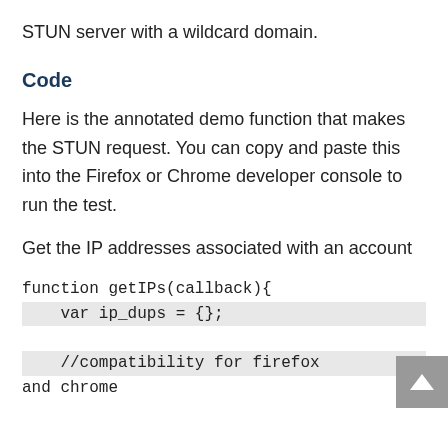STUN server with a wildcard domain.
Code
Here is the annotated demo function that makes the STUN request. You can copy and paste this into the Firefox or Chrome developer console to run the test.
Get the IP addresses associated with an account
function getIPs(callback){
    var ip_dups = {};

    //compatibility for firefox and chrome